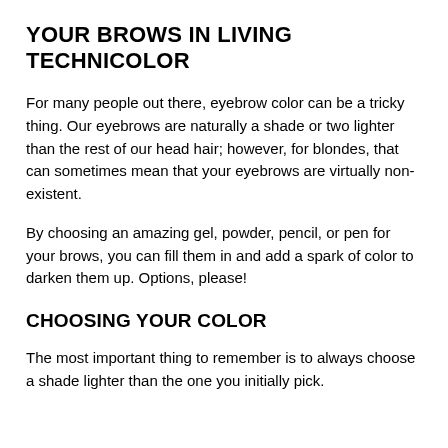YOUR BROWS IN LIVING TECHNICOLOR
For many people out there, eyebrow color can be a tricky thing. Our eyebrows are naturally a shade or two lighter than the rest of our head hair; however, for blondes, that can sometimes mean that your eyebrows are virtually non-existent.
By choosing an amazing gel, powder, pencil, or pen for your brows, you can fill them in and add a spark of color to darken them up. Options, please!
CHOOSING YOUR COLOR
The most important thing to remember is to always choose a shade lighter than the one you initially pick.